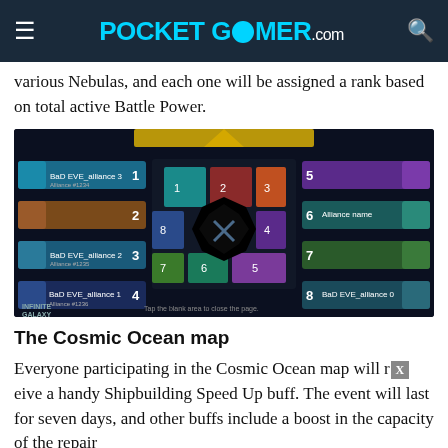POCKET GAMER.com
various Nebulas, and each one will be assigned a rank based on total active Battle Power.
[Figure (screenshot): Screenshot of Infinite Galaxy Cosmic Ocean map showing 8 numbered alliance slots around a central star map with colored regions numbered 1-8, with alliance names listed on left and right sides.]
The Cosmic Ocean map
Everyone participating in the Cosmic Ocean map will receive a handy Shipbuilding Speed Up buff. The event will last for seven days, and other buffs include a boost in the capacity of the repair